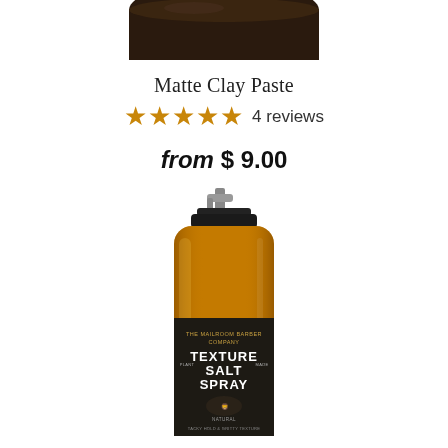[Figure (photo): Top portion of a dark round jar (Matte Clay Paste product lid visible at top of page, cropped)]
Matte Clay Paste
★★★★★ 4 reviews
from $ 9.00
[Figure (photo): Amber glass spray bottle with black pump lid labeled 'The Mailroom Barber Company Texture Salt Spray' with lion logo, 'Tacky Hold & Gritty Texture' description]